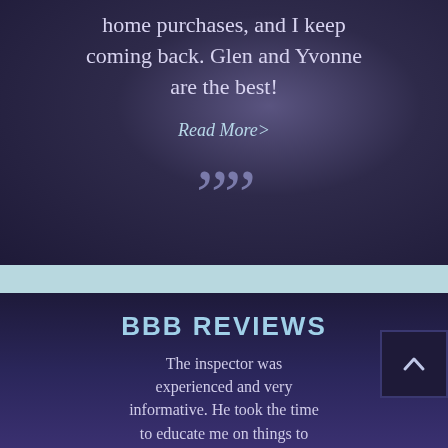home purchases, and I keep coming back. Glen and Yvonne are the best!
Read More>
””
BBB REVIEWS
The inspector was experienced and very informative. He took the time to educate me on things to look for in the systems of new home and demonstrated had to handle certain situations if they arise. I'm very pleased